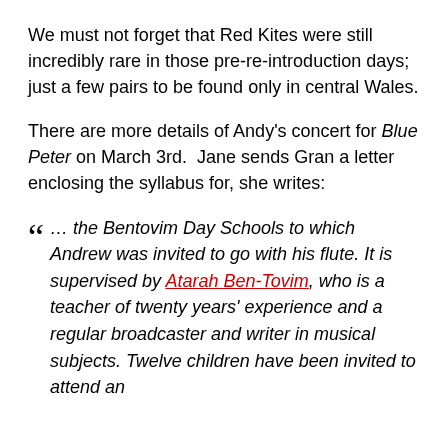We must not forget that Red Kites were still incredibly rare in those pre-re-introduction days; just a few pairs to be found only in central Wales.
There are more details of Andy's concert for Blue Peter on March 3rd.  Jane sends Gran a letter enclosing the syllabus for, she writes:
" … the Bentovim Day Schools to which Andrew was invited to go with his flute. It is supervised by Atarah Ben-Tovim, who is a teacher of twenty years' experience and a regular broadcaster and writer in musical subjects. Twelve children have been invited to attend an